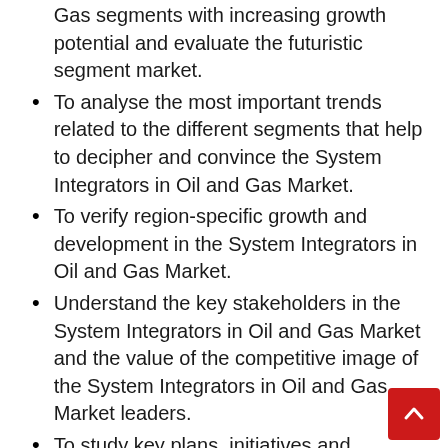Gas segments with increasing growth potential and evaluate the futuristic segment market.
To analyse the most important trends related to the different segments that help to decipher and convince the System Integrators in Oil and Gas Market.
To verify region-specific growth and development in the System Integrators in Oil and Gas Market.
Understand the key stakeholders in the System Integrators in Oil and Gas Market and the value of the competitive image of the System Integrators in Oil and Gas Market leaders.
To study key plans, initiatives and strategies for the development of the